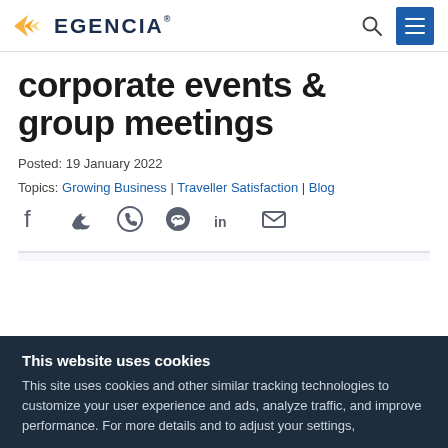EGENCIA
corporate events & group meetings
Posted: 19 January 2022
Topics: Growing Business | Traveller Satisfaction | Blog
[Figure (other): Social sharing icons: Facebook, Twitter, WhatsApp, Messenger, LinkedIn, Email]
This website uses cookies
This site uses cookies and other similar tracking technologies to customize your user experience and ads, analyze traffic, and improve performance.  For more details and to adjust your settings,